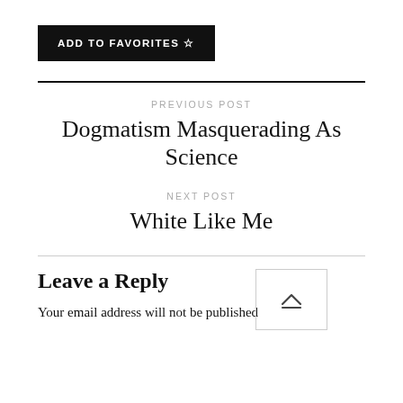ADD TO FAVORITES ☆
PREVIOUS POST
Dogmatism Masquerading As Science
NEXT POST
White Like Me
Leave a Reply
Your email address will not be published